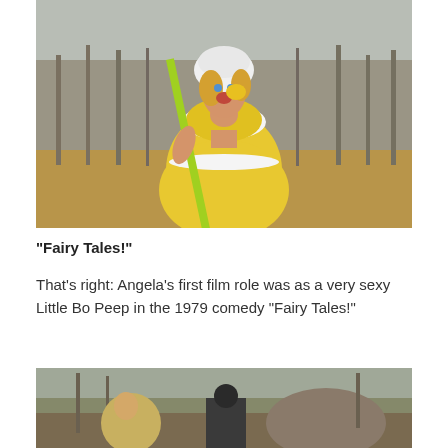[Figure (photo): Woman in yellow Little Bo Peep costume with white bonnet and frilly outfit holding a yellow shepherd's crook, standing in a wooded area with bare trees and dry grass in background, mouth open in surprised expression]
“Fairy Tales!”
That’s right: Angela’s first film role was as a very sexy Little Bo Peep in the 1979 comedy “Fairy Tales!”
[Figure (photo): Partial view of another scene from the film, showing figures outdoors in a wooded setting]